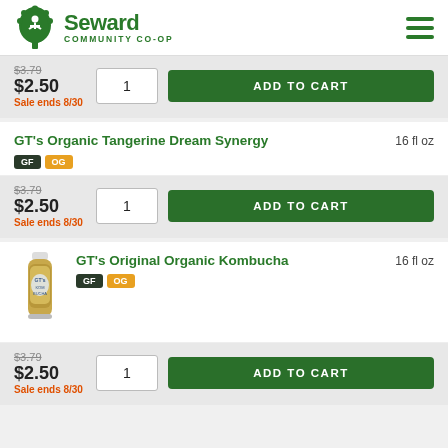Seward Community Co-op
$3.79 $2.50 Sale ends 8/30
GT's Organic Tangerine Dream Synergy 16 fl oz GF OG
$3.79 $2.50 Sale ends 8/30
GT's Original Organic Kombucha 16 fl oz GF OG
$3.79 $2.50 Sale ends 8/30